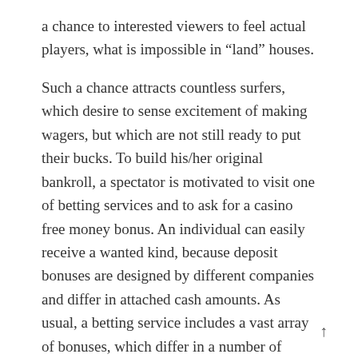a chance to interested viewers to feel actual players, what is impossible in “land” houses.
Such a chance attracts countless surfers, which desire to sense excitement of making wagers, but which are not still ready to put their bucks. To build his/her original bankroll, a spectator is motivated to visit one of betting services and to ask for a casino free money bonus. An individual can easily receive a wanted kind, because deposit bonuses are designed by different companies and differ in attached cash amounts. As usual, a betting service includes a vast array of bonuses, which differ in a number of criteria, such as related play kinds. Hence, a chance to sense the particular air of real wagering is accessible to lovers of numerous promoted play kinds, starting from generally recognized ones, including blackjack and American roulette.